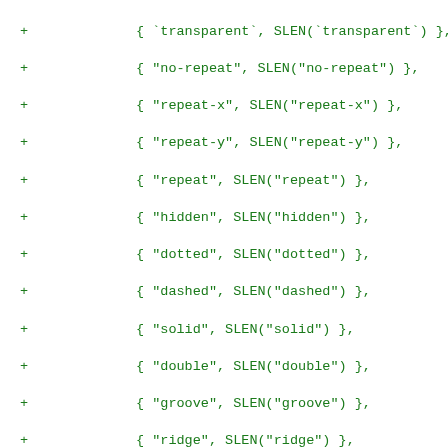+ { `transparent`, SLEN(`transparent`) },
+ { "no-repeat", SLEN("no-repeat") },
+ { "repeat-x", SLEN("repeat-x") },
+ { "repeat-y", SLEN("repeat-y") },
+ { "repeat", SLEN("repeat") },
+ { "hidden", SLEN("hidden") },
+ { "dotted", SLEN("dotted") },
+ { "dashed", SLEN("dashed") },
+ { "solid", SLEN("solid") },
+ { "double", SLEN("double") },
+ { "groove", SLEN("groove") },
+ { "ridge", SLEN("ridge") },
+ { "inset", SLEN("inset") },
+ { "outset", SLEN("outset") },
+ { "thin", SLEN("thin") },
+ { "medium", SLEN("medium") },
+ { "thick", SLEN("thick") },
+ { "collapse", SLEN("collapse") },
+ { "separate", SLEN("separate") },
+ { "auto", SLEN("auto") },
+ { "ltr", SLEN("ltr") },
+ { "rtl", SLEN("rtl") },
+ { "inline", SLEN("inline") },
+ { "block", SLEN("block") },
+ { "list-item", SLEN("list-item") },
+ { "run-in", SLEN("run-in") },
+ { "inline-block", SLEN("inline-block") },
+ { "table", SLEN("table") },
+ { "inline-table", SLEN("inline-table") },
+ { "table-row-group", SLEN("table-row-group